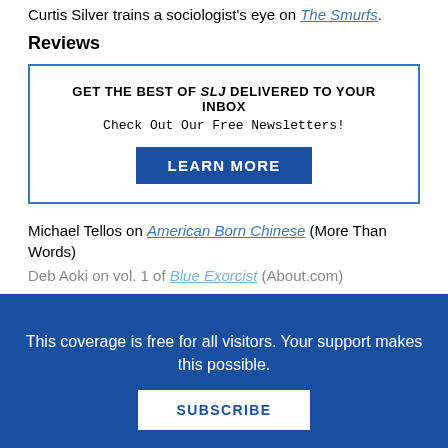Curtis Silver trains a sociologist's eye on The Smurfs.
Reviews
[Figure (infographic): Newsletter signup box with blue border. Text: GET THE BEST OF SLJ DELIVERED TO YOUR INBOX. Check Out Our Free Newsletters! Button: LEARN MORE]
Michael Tellos on American Born Chinese (More Than Words)
Deb Aoki on vol. 1 of Blue Exorcist (About.com)
This coverage is free for all visitors. Your support makes this possible.